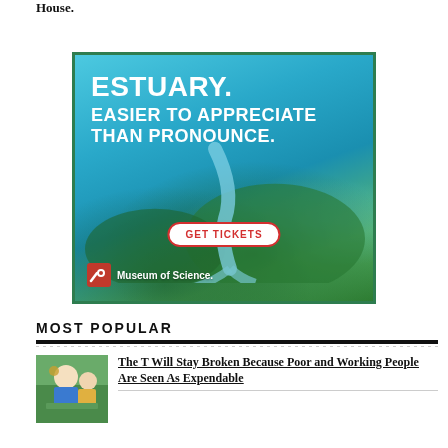House.
[Figure (illustration): Museum of Science advertisement showing aerial view of an estuary with text 'ESTUARY. EASIER TO APPRECIATE THAN PRONOUNCE.' and a 'GET TICKETS' button with Museum of Science logo.]
MOST POPULAR
[Figure (photo): Photo of people working outdoors, appears to be utility or repair workers.]
The T Will Stay Broken Because Poor and Working People Are Seen As Expendable